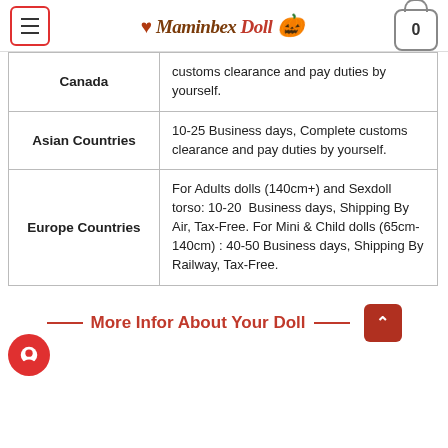Maminbex Doll [website header with menu and cart]
| Country | Shipping Info |
| --- | --- |
| Canada | customs clearance and pay duties by yourself. |
| Asian Countries | 10-25 Business days, Complete customs clearance and pay duties by yourself. |
| Europe Countries | For Adults dolls (140cm+) and Sexdoll torso: 10-20  Business days, Shipping By Air, Tax-Free. For Mini & Child dolls (65cm-140cm) : 40-50 Business days, Shipping By Railway, Tax-Free. |
— More Infor About Your Doll —